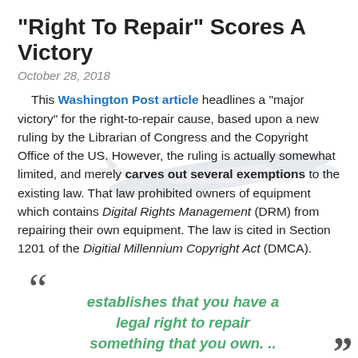"Right To Repair" Scores A Victory
October 28, 2018
This Washington Post article headlines a "major victory" for the right-to-repair cause, based upon a new ruling by the Librarian of Congress and the Copyright Office of the US. However, the ruling is actually somewhat limited, and merely carves out several exemptions to the existing law. That law prohibited owners of equipment which contains Digital Rights Management (DRM) from repairing their own equipment. The law is cited in Section 1201 of the Digitial Millennium Copyright Act (DMCA).
establishes that you have a legal right to repair something that you own. ..